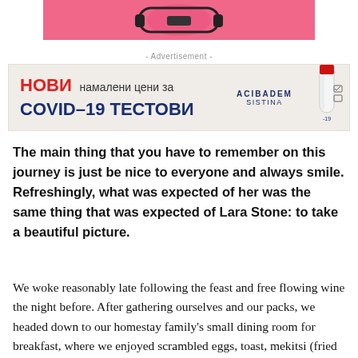[Figure (photo): Top pink banner advertisement with illustrated product/character on pink background]
- Advertisement -
[Figure (photo): Acibadem Sistina advertisement banner with text 'НОВИ намалени цени за COVID-19 ТЕСТОВИ' in red and navy blue, logo on right with a COVID test tube illustration]
The main thing that you have to remember on this journey is just be nice to everyone and always smile. Refreshingly, what was expected of her was the same thing that was expected of Lara Stone: to take a beautiful picture.
We woke reasonably late following the feast and free flowing wine the night before. After gathering ourselves and our packs, we headed down to our homestay family's small dining room for breakfast, where we enjoyed scrambled eggs, toast, mekitsi (fried dough), local jam and